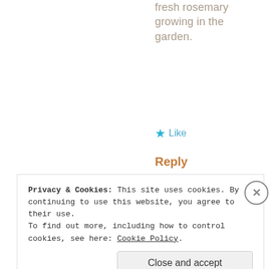fresh rosemary growing in the garden.
★ Like
Reply
E.C.
04/21/2016 at 12:50 pm
Thanks Cooking for the time
Privacy & Cookies: This site uses cookies. By continuing to use this website, you agree to their use.
To find out more, including how to control cookies, see here: Cookie Policy.
Close and accept